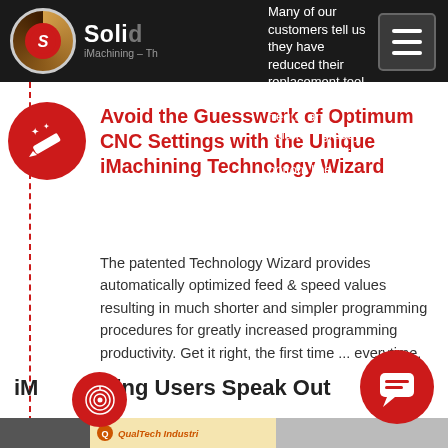SolidCAM iMachining – The
Many of our customers tell us they have reduced their replacement tool orders both in frequency and volume - greatly adding to their bottom line.
Avoid the Guesswork of Optimum CNC Settings with the Unique iMachining Technology Wizard
The patented Technology Wizard provides automatically optimized feed & speed values resulting in much shorter and simpler programming procedures for greatly increased programming productivity. Get it right, the first time ... everytime.
iMachining Users Speak Out
[Figure (photo): Bottom strip showing QualTech Industries Inc. logo and a thumbnail image]